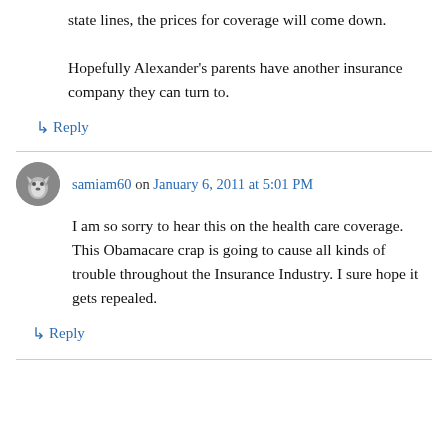state lines, the prices for coverage will come down.
Hopefully Alexander’s parents have another insurance company they can turn to.
↳ Reply
samiam60 on January 6, 2011 at 5:01 PM
I am so sorry to hear this on the health care coverage. This Obamacare crap is going to cause all kinds of trouble throughout the Insurance Industry. I sure hope it gets repealed.
↳ Reply